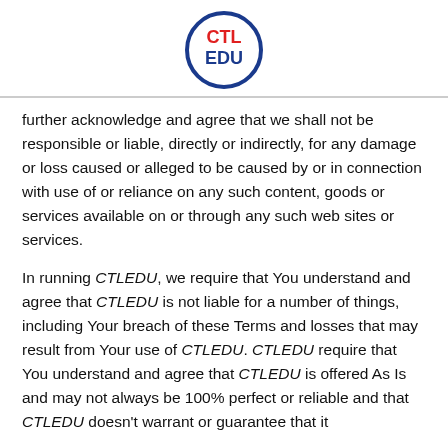[Figure (logo): CTL EDU logo: circle with blue border, 'CTL' in red bold text and 'EDU' in blue bold text inside]
further acknowledge and agree that we shall not be responsible or liable, directly or indirectly, for any damage or loss caused or alleged to be caused by or in connection with use of or reliance on any such content, goods or services available on or through any such web sites or services.
In running CTLEDU, we require that You understand and agree that CTLEDU is not liable for a number of things, including Your breach of these Terms and losses that may result from Your use of CTLEDU. CTLEDU require that You understand and agree that CTLEDU is offered As Is and may not always be 100% perfect or reliable and that CTLEDU doesn't warrant or guarantee that it